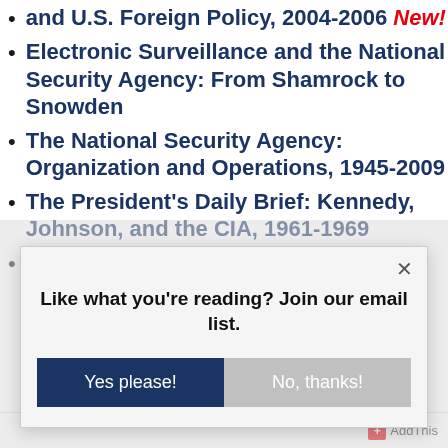and U.S. Foreign Policy, 2004-2006 New!
Electronic Surveillance and the National Security Agency: From Shamrock to Snowden
The National Security Agency: Organization and Operations, 1945-2009
The President's Daily Brief: Kennedy, Johnson, and the CIA, 1961-1969
The President's Daily Brief:  Nixon, Ford, and the CIA,
Like what you're reading? Join our email list.
Yes please!
No, thanks!
AddThis